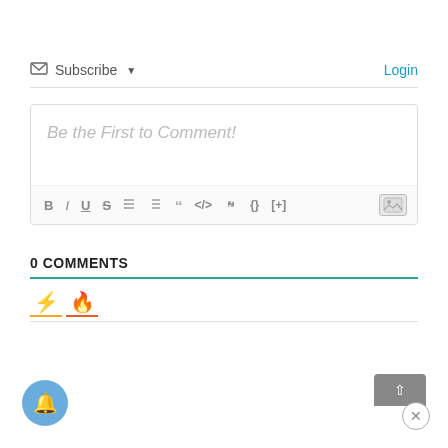✉ Subscribe ▼
Login
Be the First to Comment!
[Figure (screenshot): Rich text editor toolbar with formatting buttons: B, I, U, S, ordered list, unordered list, blockquote, code, link, braces, [+], and image icon]
0 COMMENTS
[Figure (infographic): Two sort tabs: a yellow/orange lightning bolt icon and an orange-red flame icon, each with a colored underline indicator]
[Figure (infographic): Blue circular notification bell button at bottom left, grey scroll-to-top box at bottom right with an up arrow, and a close (x) circle button]